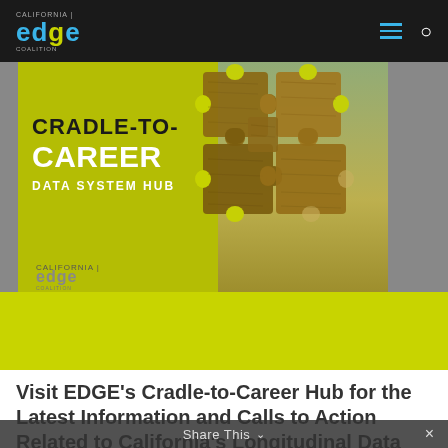California EDGE Coalition
[Figure (screenshot): Cradle-to-Career Data System Hub hero banner image with wooden puzzle pieces on a lime-green and dark background, with California EDGE Coalition logo overlay. Text reads: CRADLE-TO-CAREER DATA SYSTEM HUB]
Visit EDGE's Cradle-to-Career Hub for the Latest Information and Calls to Action Related to California's Longitudinal Data System
August 25, 2021
Share This